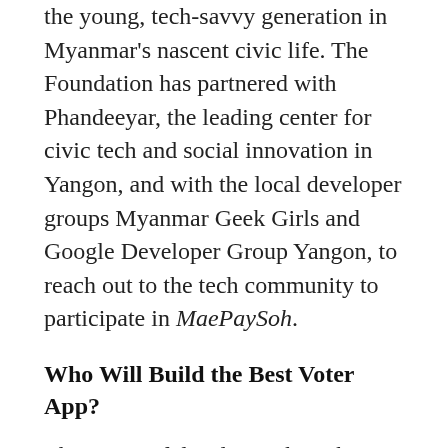the young, tech-savvy generation in Myanmar's nascent civic life. The Foundation has partnered with Phandeeyar, the leading center for civic tech and social innovation in Yangon, and with the local developer groups Myanmar Geek Girls and Google Developer Group Yangon, to reach out to the tech community to participate in MaePaySoh.
Who Will Build the Best Voter App?
The teams of developers have been hard at work since September 12. The MaePaySoh Hack Challenge ends on September 27, when the teams will display the results of their work to the judges. Winners will receive cash and other valuable prizes, including